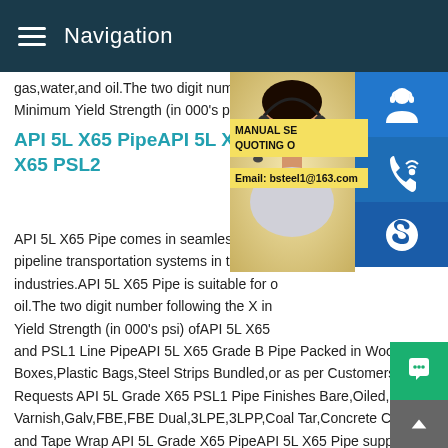Navigation
gas,water,and oil.The two digit number foll Minimum Yield Strength (in 000's psi) of
API 5L X65 PipeAPI 5L X65 P X65 PSL2
[Figure (photo): Woman wearing a headset, customer service representative, with sidebar icons for chat, phone/skype, and Skype, plus a yellow banner reading MANUAL SE... QUOTING O... Email: bsteel1@163.com]
API 5L X65 Pipe comes in seamless and w pipeline transportation systems in the petr industries.API 5L X65 Pipe is suitable for o oil.The two digit number following the X in Yield Strength (in 000's psi) ofAPI 5L X65 and PSL1 Line PipeAPI 5L X65 Grade B Pipe Packed in Wooden Boxes,Plastic Bags,Steel Strips Bundled,or as per Customers Requests API 5L Grade X65 PSL1 Pipe Finishes Bare,Oiled,M Varnish,Galv,FBE,FBE Dual,3LPE,3LPP,Coal Tar,Concrete Co and Tape Wrap API 5L Grade X65 PipeAPI 5L X65 Pipe suppl X65 Pipes|X65 Grade PipeAPI API 5L is a specification of api w